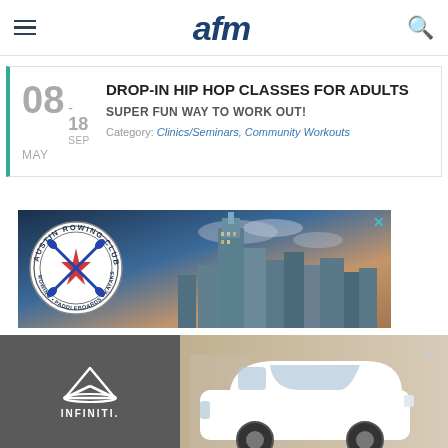afm
08 MAY - 18 SEP
DROP-IN HIP HOP CLASSES FOR ADULTS
SUPER FUN WAY TO WORK OUT!
Category: Clinics/Seminars, Community Workouts
[Figure (illustration): Austin Rowing Club advertisement with club logo circle badge and Austin skyline background]
[Figure (illustration): Infiniti car advertisement showing Infiniti logo and white SUV on tan/gray background with X close button]